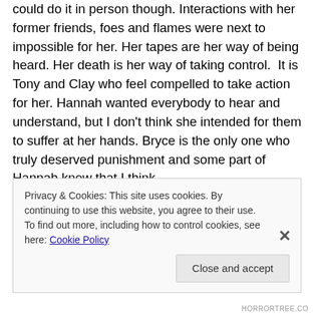could do it in person though. Interactions with her former friends, foes and flames were next to impossible for her. Her tapes are her way of being heard. Her death is her way of taking control.  It is Tony and Clay who feel compelled to take action for her. Hannah wanted everybody to hear and understand, but I don't think she intended for them to suffer at her hands. Bryce is the only one who truly deserved punishment and some part of Hannah knew that I think.
If Hannah wanted revenge, there would have been better ways to do it. She could have framed Bryce for death or
Privacy & Cookies: This site uses cookies. By continuing to use this website, you agree to their use.
To find out more, including how to control cookies, see here: Cookie Policy
Close and accept